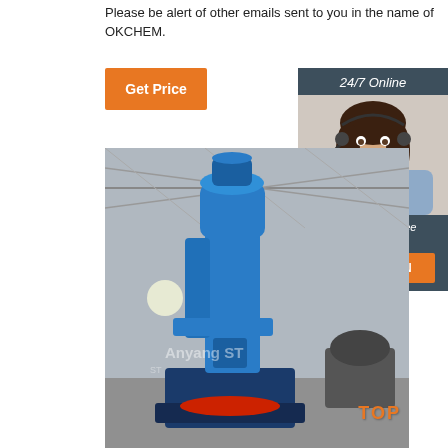Please be alert of other emails sent to you in the name of OKCHEM.
Get Price
[Figure (screenshot): Sidebar widget showing '24/7 Online' label, customer support agent photo (woman with headset smiling), 'Click here for free chat!' text, and orange QUOTATION button. Dark blue-grey background.]
[Figure (photo): Photo of a large blue industrial power hammer/forging machine inside a factory warehouse. The machine is painted bright blue and has a C-frame design with a hammer head. Red die material visible at the base. Watermark reads 'Anyang ST'. Factory interior with steel roof trusses visible in background.]